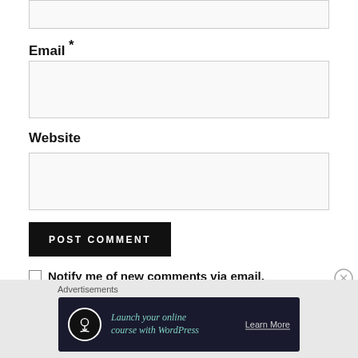Email *
Website
POST COMMENT
Notify me of new comments via email.
[Figure (infographic): Advertisement banner: 'Launch your online course with WordPress' with Learn More button and an upload icon on dark background]
Advertisements